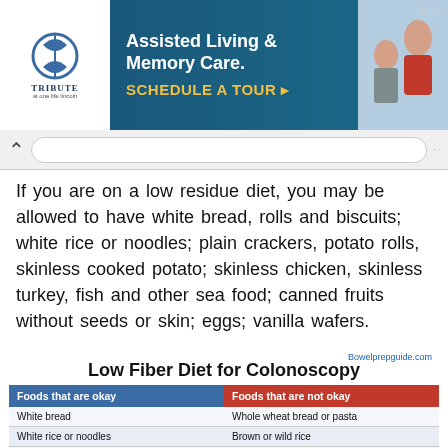[Figure (other): Advertisement banner for Tribute at One Life Lincoln - Assisted Living & Memory Care with a schedule a tour call to action]
If you are on a low residue diet, you may be allowed to have white bread, rolls and biscuits; white rice or noodles; plain crackers, potato rolls, skinless cooked potato; skinless chicken, skinless turkey, fish and other sea food; canned fruits without seeds or skin; eggs; vanilla wafers.
Bowelprepguide.com
Low Fiber Diet for Colonoscopy
| Foods that are okay | Foods that are not okay |
| --- | --- |
| White bread | Whole wheat bread or pasta |
| White rice or noodles | Brown or wild rice |
| Plain crackers and potato rolls | Whole wheat crackers and Rolls |
| Skinless  cooked potato | Raw or partially cooked vegetables |
| Skinless chicken or turkey | Tough meat or meat items with skin |